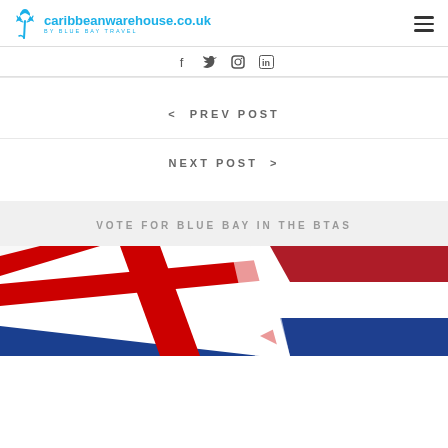caribbeanwarehouse.co.uk BY BLUE BAY TRAVEL
[Figure (other): Social media icons: Facebook, Twitter, Instagram, LinkedIn]
< PREV POST
NEXT POST >
VOTE FOR BLUE BAY IN THE BTAS
[Figure (photo): Union Jack flag and Netherlands flag waving together]